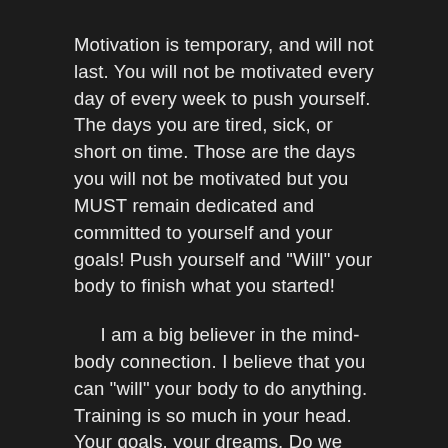Motivation is temporary, and will not last. You will not be motivated every day of every week to push yourself. The days you are tired, sick, or short on time. Those are the days you will not be motivated but you MUST remain dedicated and committed to yourself and your goals! Push yourself and "Will" your body to finish what you started!
I am a big believer in the mind-body connection. I believe that you can "will" your body to do anything. Training is so much in your head. Your goals, your dreams. Do we even consciously think about these things